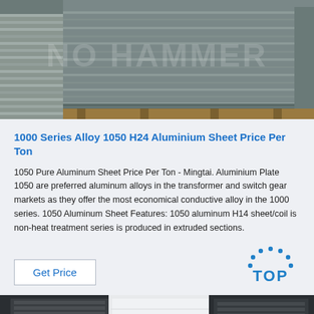[Figure (photo): Photo of stacked aluminium/metal sheets or plates on a pallet in a warehouse, with a watermark overlay reading 'NO HAMMER']
1000 Series Alloy 1050 H24 Aluminium Sheet Price Per Ton
1050 Pure Aluminum Sheet Price Per Ton - Mingtai. Aluminium Plate 1050 are preferred aluminum alloys in the transformer and switch gear markets as they offer the most economical conductive alloy in the 1000 series. 1050 Aluminum Sheet Features: 1050 aluminum H14 sheet/coil is non-heat treatment series is produced in extruded sections.
Get Price
[Figure (logo): TOP logo with blue dots arranged in an arc above the word TOP in blue letters]
[Figure (photo): Photo showing aluminium sheets including white sheet, partially visible at bottom of page]